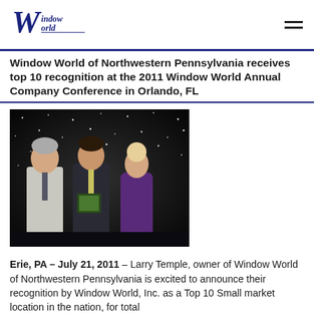Window World logo and navigation
Window World of Northwestern Pennsylvania receives top 10 recognition at the 2011 Window World Annual Company Conference in Orlando, FL
[Figure (photo): Three people standing in front of a dark starry backdrop at an awards ceremony. A man in a light suit on the left, a man in a dark suit holding a plaque in the center, and a woman in a purple dress on the right.]
Erie, PA – July 21, 2011 – Larry Temple, owner of Window World of Northwestern Pennsylvania is excited to announce their recognition by Window World, Inc. as a Top 10 Small market location in the nation, for total